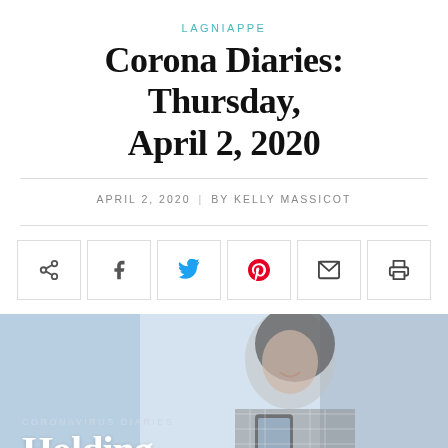LAGNIAPPE
Corona Diaries: Thursday, April 2, 2020
APRIL 2, 2020 | BY KELLY MASSICOT
[Figure (photo): Black and white photo of a smiling woman in a plaid shirt looking at a smartphone, with blurred background. Overlaid text reads 'CORONAVIRUS DIARIES' and 'Holding']